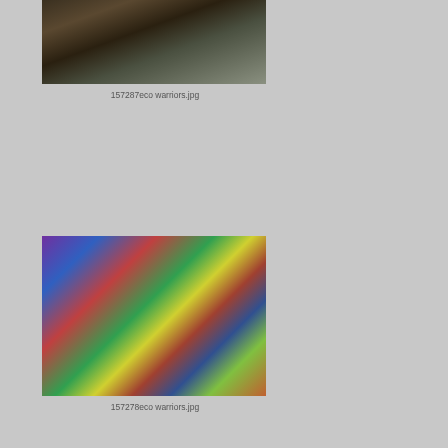[Figure (photo): Person climbing up a structure made of metal beams and wires among tree branches, viewed from below]
157287eco warriors.jpg
[Figure (photo): Interior of a cluttered living space with colorful blankets, shelves, a plastic chair, and various items, appearing to be an eco-warrior camp dwelling]
157278eco warriors.jpg